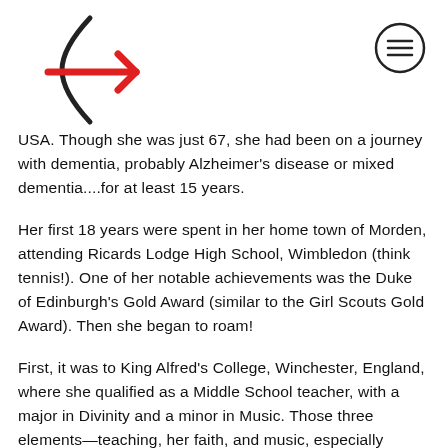[Figure (logo): Website logo with a stylized arrow/chevron symbol in black and red pointing right]
[Figure (other): Hamburger menu icon — three horizontal lines inside a circle outline]
USA. Though she was just 67, she had been on a journey with dementia, probably Alzheimer's disease or mixed dementia....for at least 15 years.
Her first 18 years were spent in her home town of Morden, attending Ricards Lodge High School, Wimbledon (think tennis!). One of her notable achievements was the Duke of Edinburgh's Gold Award (similar to the Girl Scouts Gold Award). Then she began to roam!
First, it was to King Alfred's College, Winchester, England, where she qualified as a Middle School teacher, with a major in Divinity and a minor in Music. Those three elements—teaching, her faith, and music, especially singing—combined with her love of family, defined her life. Her dissertation on the life of Martin Luther King gave a further clue to her driving force...